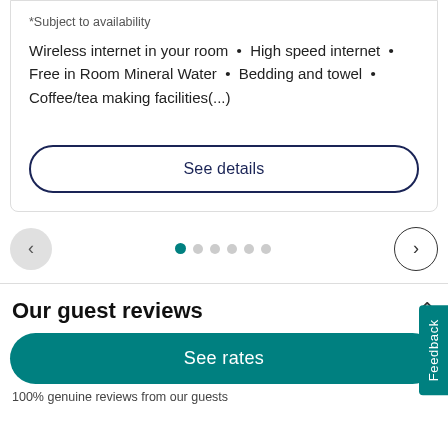*Subject to availability
Wireless internet in your room • High speed internet • Free in Room Mineral Water • Bedding and towel • Coffee/tea making facilities(...)
See details
[Figure (other): Carousel navigation with left arrow button (gray circle), 6 pagination dots (first dot teal/active, rest gray), and right arrow button (outlined circle)]
Our guest reviews
See rates
100% genuine reviews from our guests
Feedback